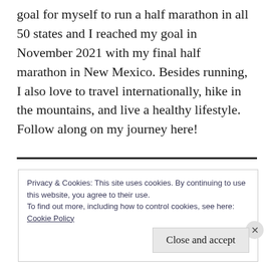goal for myself to run a half marathon in all 50 states and I reached my goal in November 2021 with my final half marathon in New Mexico. Besides running, I also love to travel internationally, hike in the mountains, and live a healthy lifestyle. Follow along on my journey here!
Privacy & Cookies: This site uses cookies. By continuing to use this website, you agree to their use.
To find out more, including how to control cookies, see here:
Cookie Policy
Close and accept